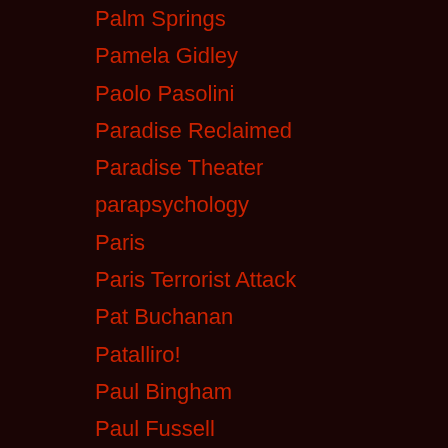Palm Springs
Pamela Gidley
Paolo Pasolini
Paradise Reclaimed
Paradise Theater
parapsychology
Paris
Paris Terrorist Attack
Pat Buchanan
Patalliro!
Paul Bingham
Paul Fussell
Paul Gottfried
Paul Robeson
Paul Schrader